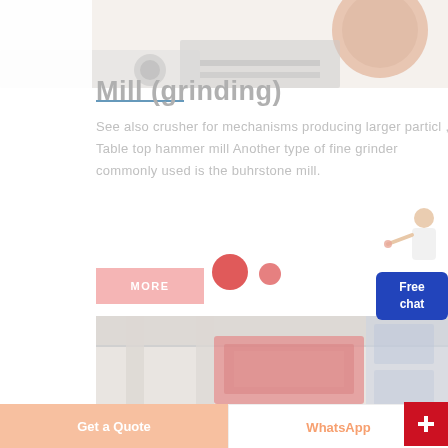[Figure (photo): Top view of industrial grinding mill machinery, partially visible]
Mill (grinding)
See also crusher for mechanisms producing larger particl , Table top hammer mill Another type of fine grinder commonly used is the buhrstone mill.
[Figure (photo): Industrial mill machinery in factory setting with red equipment and blue panels]
Get a Quote   WhatsApp